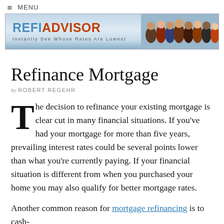≡ MENU
[Figure (logo): RefiAdvisor banner logo with tagline 'Instantly See Whose Rates Are Lowest' and group of people on right side]
Refinance Mortgage
by ROBERT REGEHR
The decision to refinance your existing mortgage is clear cut in many financial situations. If you've had your mortgage for more than five years, prevailing interest rates could be several points lower than what you're currently paying. If your financial situation is different from when you purchased your home you may also qualify for better mortgage rates.
Another common reason for mortgage refinancing is to cash-